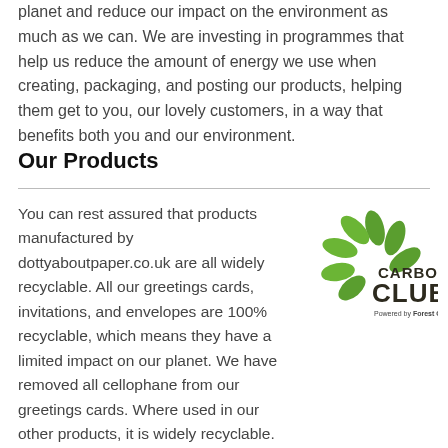planet and reduce our impact on the environment as much as we can. We are investing in programmes that help us reduce the amount of energy we use when creating, packaging, and posting our products, helping them get to you, our lovely customers, in a way that benefits both you and our environment.
Our Products
You can rest assured that products manufactured by dottyaboutpaper.co.uk are all widely recyclable. All our greetings cards, invitations, and envelopes are 100% recyclable, which means they have a limited impact on our planet. We have removed all cellophane from our greetings cards. Where used in our other products, it is widely recyclable. We also
[Figure (logo): Carbon Club logo - green leaf design with text 'CARBON CLUB Powered by Forest Carbon']